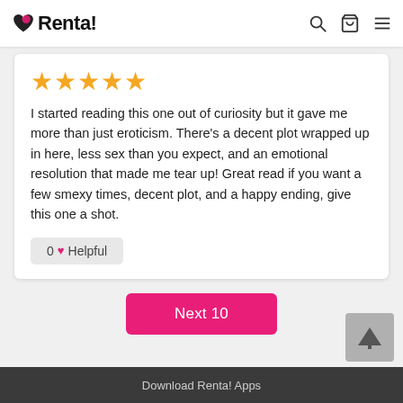Renta!
★★★★★
I started reading this one out of curiosity but it gave me more than just eroticism. There's a decent plot wrapped up in here, less sex than you expect, and an emotional resolution that made me tear up! Great read if you want a few smexy times, decent plot, and a happy ending, give this one a shot.
0 ♥ Helpful
Next 10
Download Renta! Apps